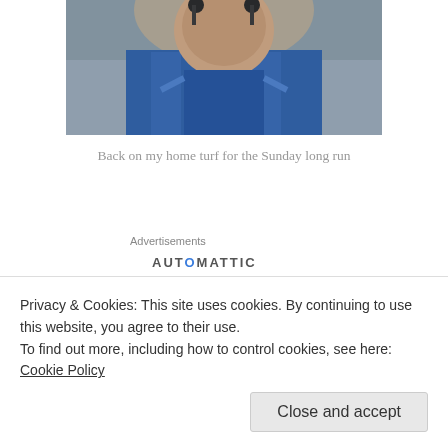[Figure (photo): Photo of a person in a blue athletic top with headphones, cropped at the shoulders, outdoors on pavement]
Back on my home turf for the Sunday long run
Advertisements
AUTOMATTIC
I have to recommend a podcast I discovered recently called I'll Have Another with Lindsey Hein, specifically an episode from last December where she interviewed Desi
Privacy & Cookies: This site uses cookies. By continuing to use this website, you agree to their use.
To find out more, including how to control cookies, see here: Cookie Policy
Close and accept